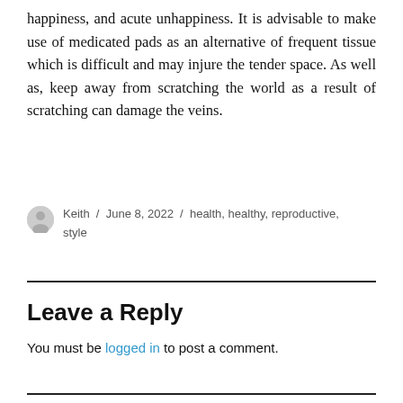happiness, and acute unhappiness. It is advisable to make use of medicated pads as an alternative of frequent tissue which is difficult and may injure the tender space. As well as, keep away from scratching the world as a result of scratching can damage the veins.
Keith / June 8, 2022 / health, healthy, reproductive, style
Leave a Reply
You must be logged in to post a comment.